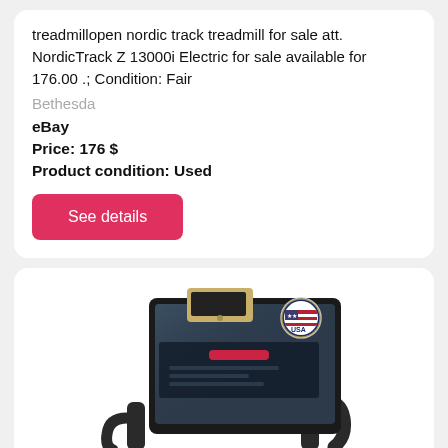treadmillopen nordic track treadmill for sale att. NordicTrack Z 13000i Electric for sale available for 176.00 .; Condition: Fair
Bethesda
eBay
Price: 176 $
Product condition: Used
See details
[Figure (photo): Photo of a NordicTrack exercise bike console/screen with a smartphone resting on top and handlebars visible, with a circular USA badge/sticker in the upper right corner of the screen.]
ONTCN for NordicTrack 300i